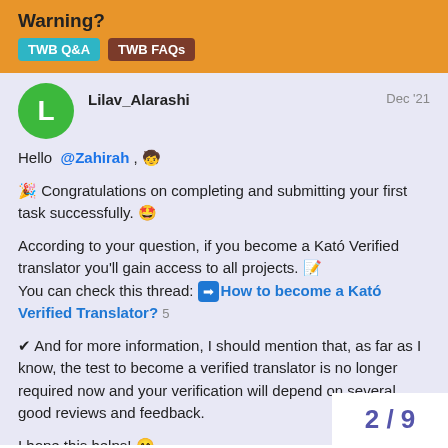Warning? TWB Q&A  TWB FAQs
Lilav_Alarashi  Dec '21
Hello @Zahirah , 🧒
🎉 Congratulations on completing and submitting your first task successfully. 🤩
According to your question, if you become a Kató Verified translator you'll gain access to all projects. 📝
You can check this thread: ➡ How to become a Kató Verified Translator? 5
✔ And for more information, I should mention that, as far as I know, the test to become a verified translator is no longer required now and your verification will depend on several good reviews and feedback.
I hope this helps! 😊
2 / 9